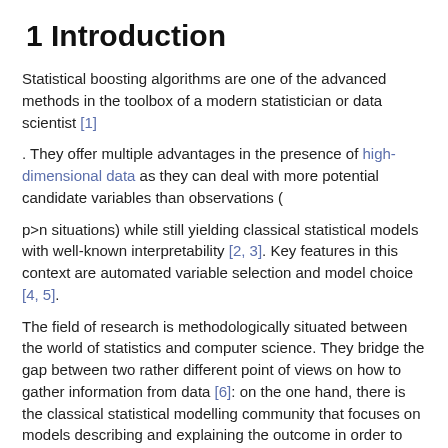1 Introduction
Statistical boosting algorithms are one of the advanced methods in the toolbox of a modern statistician or data scientist [1]
. They offer multiple advantages in the presence of high-dimensional data as they can deal with more potential candidate variables than observations (
p>n situations) while still yielding classical statistical models with well-known interpretability [2, 3]. Key features in this context are automated variable selection and model choice [4, 5].
The field of research is methodologically situated between the world of statistics and computer science. They bridge the gap between two rather different point of views on how to gather information from data [6]: on the one hand, there is the classical statistical modelling community that focuses on models describing and explaining the outcome in order to find an approximation to the underlying